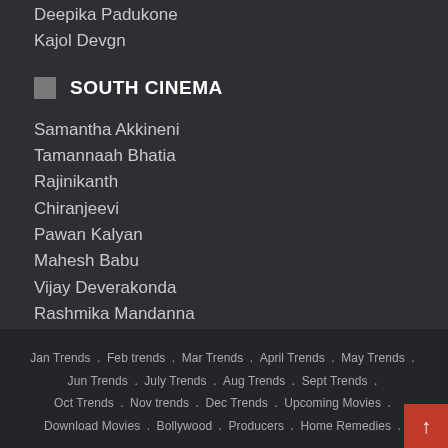Deepika Padukone
Kajol Devgn
SOUTH CINEMA
Samantha Akkineni
Tamannaah Bhatia
Rajinikanth
Chiranjeevi
Pawan Kalyan
Mahesh Babu
Vijay Deverakonda
Rashmika Mandanna
Jan Trends . Feb trends . Mar Trends . April Trends . May Trends . Jun Trends . July Trends . Aug Trends . Sept Trends . Oct Trends . Nov trends . Dec Trends . Upcoming Movies . Download Movies . Bollywood . Producers . Home Remedies .